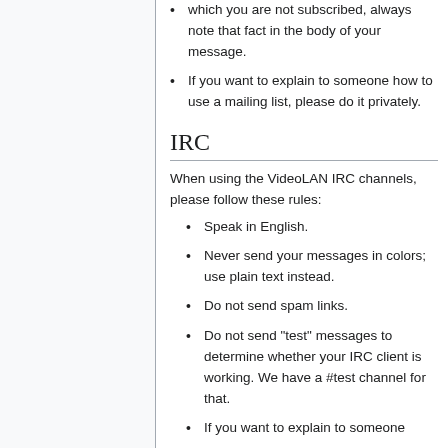which you are not subscribed, always note that fact in the body of your message.
If you want to explain to someone how to use a mailing list, please do it privately.
IRC
When using the VideoLAN IRC channels, please follow these rules:
Speak in English.
Never send your messages in colors; use plain text instead.
Do not send spam links.
Do not send "test" messages to determine whether your IRC client is working. We have a #test channel for that.
If you want to explain to someone